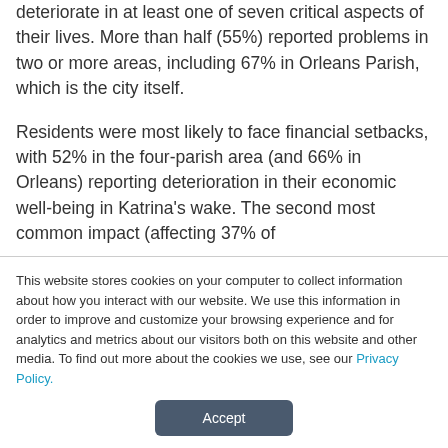deteriorate in at least one of seven critical aspects of their lives. More than half (55%) reported problems in two or more areas, including 67% in Orleans Parish, which is the city itself.
Residents were most likely to face financial setbacks, with 52% in the four-parish area (and 66% in Orleans) reporting deterioration in their economic well-being in Katrina's wake. The second most common impact (affecting 37% of
This website stores cookies on your computer to collect information about how you interact with our website. We use this information in order to improve and customize your browsing experience and for analytics and metrics about our visitors both on this website and other media. To find out more about the cookies we use, see our Privacy Policy.